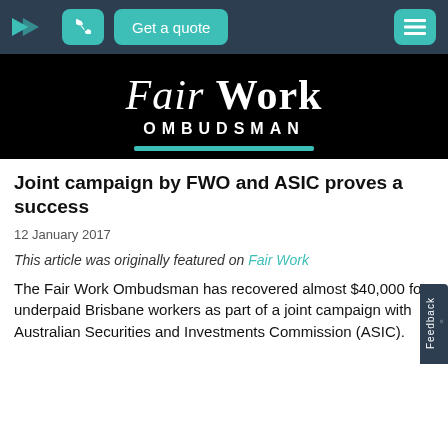[Figure (screenshot): Navigation bar with company logo (arrow icon), teal phone button, teal 'Get a quote' button, and teal hamburger menu button on dark navy background]
[Figure (logo): Fair Work Ombudsman logo on black background with italic serif 'Fair Work' text and 'OMBUDSMAN' in spaced capitals, with teal horizontal rule underneath]
Joint campaign by FWO and ASIC proves a success
12 January 2017
This article was originally featured on Fair Work
The Fair Work Ombudsman has recovered almost $40,000 for underpaid Brisbane workers as part of a joint campaign with Australian Securities and Investments Commission (ASIC).